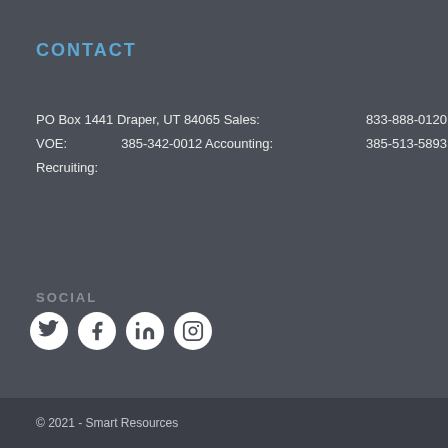CONTACT
PO Box 1441 Draper, UT 84065 Sales:   833-888-0120
VOE:   385-342-0012 Accounting:   385-513-5893
Recruiting:
SOCIAL
[Figure (other): Social media icons: Twitter, Facebook, LinkedIn, Instagram]
© 2021 - Smart Resources